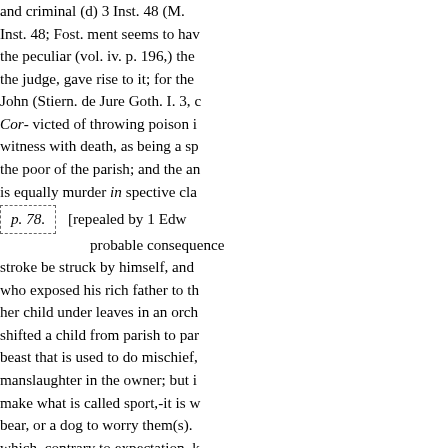and criminal (d) 3 Inst. 48; Fost. ment seems to have the peculiar (vol. iv. p. 196,) the judge, gave rise to it; for the John (Stiern. de Jure Goth. I. 3, c Cor- victed of throwing poison i witness with death, as being a sp the poor of the parish; and the an is equally murder in spective cla [repealed by 1 Edw probable consequence stroke be struck by himself, and who exposed his rich father to th her child under leaves in an orch shifted a child from parish to par beast that is used to do mischief, manslaughter in the owner; but i make what is called sport,-it is w bear, or a dog to worry them(s). which, contrary to expectation, k some of the older authorities, it h administers the medicine or perf Hale very justly questions the lav death is occasioned by gross w